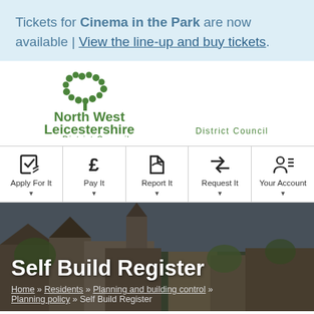Tickets for Cinema in the Park are now available | View the line-up and buy tickets.
[Figure (logo): North West Leicestershire District Council logo with green tree/dots graphic]
Apply For It | Pay It | Report It | Request It | Your Account
Self Build Register
Home » Residents » Planning and building control » Planning policy » Self Build Register